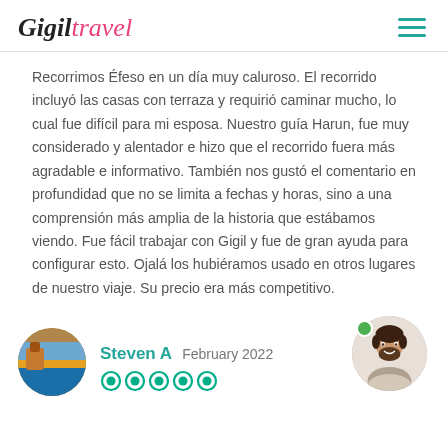Gigil Travel
Recorrimos Éfeso en un día muy caluroso. El recorrido incluyó las casas con terraza y requirió caminar mucho, lo cual fue difícil para mi esposa. Nuestro guía Harun, fue muy considerado y alentador e hizo que el recorrido fuera más agradable e informativo. También nos gustó el comentario en profundidad que no se limita a fechas y horas, sino a una comprensión más amplia de la historia que estábamos viendo. Fue fácil trabajar con Gigil y fue de gran ayuda para configurar esto. Ojalá los hubiéramos usado en otros lugares de nuestro viaje. Su precio era más competitivo.
Steven A  February 2022